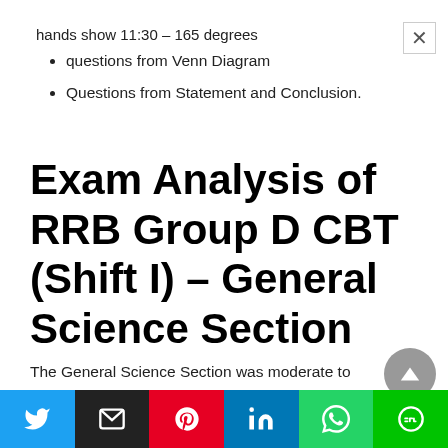hands show 11:30 – 165 degrees
questions from Venn Diagram
Questions from Statement and Conclusion.
Exam Analysis of RRB Group D CBT (Shift I) – General Science Section
The General Science Section was moderate to difficult questions were asked. Most of the questions were asked